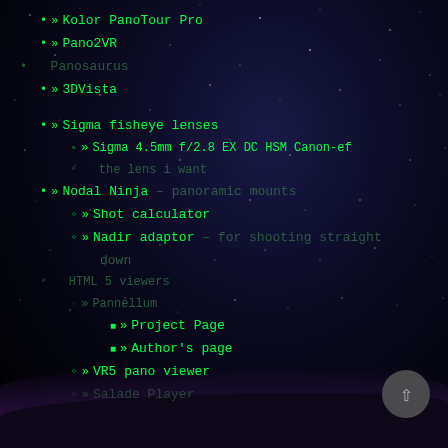» Kolor PanoTour Pro
» Pano2VR
Panosaurus
» 3DVista
» Sigma fisheye lenses
» Sigma 4.5mm f/2.8 EX DC HSM Canon-ef
the lens i want
» Nodal Ninja – panoramic mounts
» Shot calculator
» Nadir adaptor – for shooting straight
down
HTML 5 viewers
» Pannellum
» Project Page
» Author's page
» VR5 pano viewer
» Salade Player